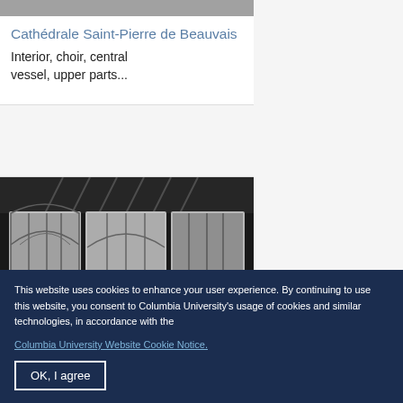[Figure (photo): Top of a black-and-white photo of Cathédrale Saint-Pierre de Beauvais interior, partially cropped at top]
Cathédrale Saint-Pierre de Beauvais
Interior, choir, central vessel, upper parts...
[Figure (photo): Black-and-white photograph of the interior of Cathédrale Saint-Pierre de Beauvais showing gothic arches, columns, and stained glass windows]
This website uses cookies to enhance your user experience. By continuing to use this website, you consent to Columbia University's usage of cookies and similar technologies, in accordance with the Columbia University Website Cookie Notice.
OK, I agree